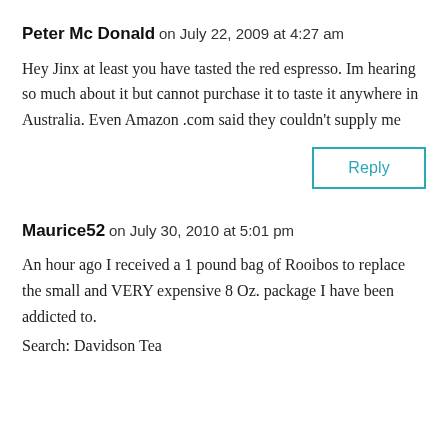Peter Mc Donald on July 22, 2009 at 4:27 am
Hey Jinx at least you have tasted the red espresso. Im hearing so much about it but cannot purchase it to taste it anywhere in Australia. Even Amazon .com said they couldn't supply me
Reply
Maurice52 on July 30, 2010 at 5:01 pm
An hour ago I received a 1 pound bag of Rooibos to replace the small and VERY expensive 8 Oz. package I have been addicted to.
Search: Davidson Tea